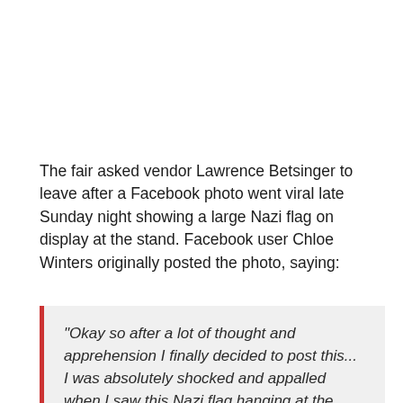The fair asked vendor Lawrence Betsinger to leave after a Facebook photo went viral late Sunday night showing a large Nazi flag on display at the stand. Facebook user Chloe Winters originally posted the photo, saying:
“Okay so after a lot of thought and apprehension I finally decided to post this... I was absolutely shocked and appalled when I saw this Nazi flag hanging at the Bloomsburg Fair yesterday. This flag represents the brutal and horrific genocide of innocent people. It stands for the hatred and destruction of a religion I feel blessed to be a part of. It’s 2016 and the world is still full